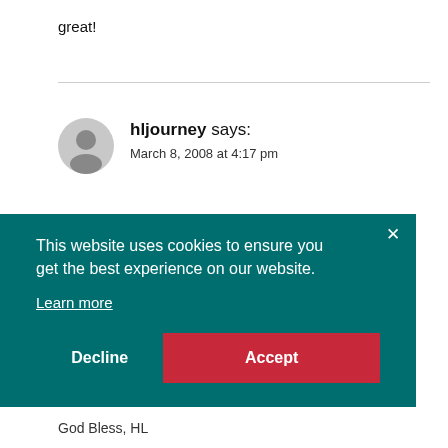great!
hljourney says:
March 8, 2008 at 4:17 pm
This website uses cookies to ensure you get the best experience on our website.
Learn more
Decline  Accept
God Bless, HL